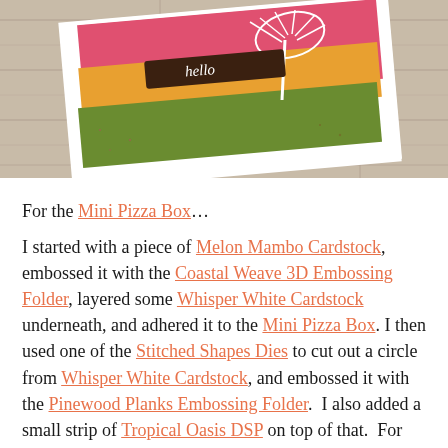[Figure (photo): A decorative handmade card with tropical palm tree and 'hello' banner, displayed on a wooden background, shown at an angle. The card features pink, yellow, and green watercolor-style panels.]
For the Mini Pizza Box...
I started with a piece of Melon Mambo Cardstock, embossed it with the Coastal Weave 3D Embossing Folder, layered some Whisper White Cardstock underneath, and adhered it to the Mini Pizza Box. I then used one of the Stitched Shapes Dies to cut out a circle from Whisper White Cardstock, and embossed it with the Pinewood Planks Embossing Folder.  I also added a small strip of Tropical Oasis DSP on top of that.  For some extra texture, I added a few strands of Whisper White Baker's Twine and some Granny Apple Green Textured Ribbon (cut in half vertically).